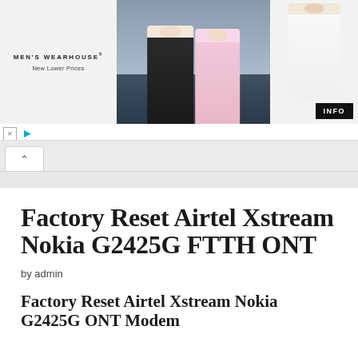[Figure (screenshot): Men's Wearhouse advertisement banner showing a couple in formal wear and a man in a white suit, with INFO button]
Factory Reset Airtel Xstream Nokia G2425G FTTH ONT
by admin
Factory Reset Airtel Xstream Nokia G2425G ONT Modem